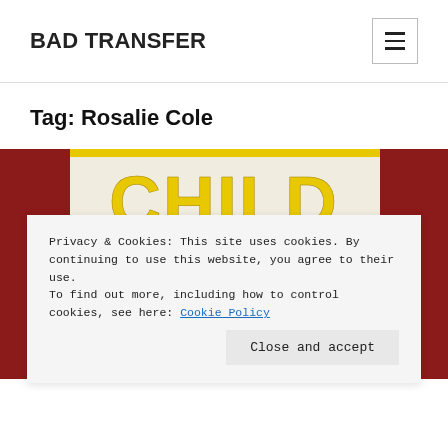BAD TRANSFER
Tag: Rosalie Cole
[Figure (photo): A horror movie or book cover featuring the word 'CHILD' in large yellow distressed letters with spooky tree and haunted house imagery in black and white below, with a red background on the sides. Text 'hide and' is partially visible at bottom.]
Privacy & Cookies: This site uses cookies. By continuing to use this website, you agree to their use.
To find out more, including how to control cookies, see here: Cookie Policy
Close and accept